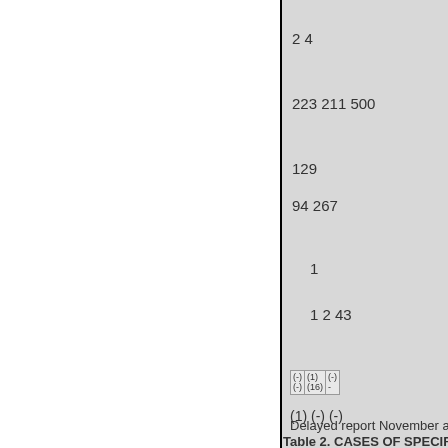| 2 4 |
| 223 211 500 |
| 129 |
| 94 267 |
| 1 |
| 1 2 43 |
[Figure (table-as-image): Small embedded table with numeric data in three columns, approximately 3 rows]
(1) (-) (-)
Delayed report November and
Table 2. CASES OF SPECIFIED